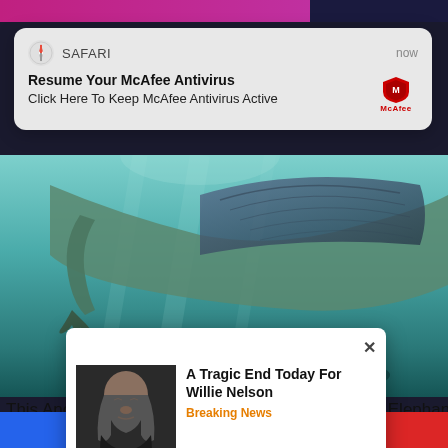[Figure (screenshot): Safari browser notification popup: 'Resume Your McAfee Antivirus / Click Here To Keep McAfee Antivirus Active' with McAfee shield logo]
[Figure (photo): Underwater photo of an ancient creature resembling an underwater elephant, swimming in blue-green water]
This Ancient Creature Looked Like An Underwater Elephant
Brainberries
[Figure (screenshot): Popup ad with photo of Willie Nelson and text 'A Tragic End Today For Willie Nelson / Breaking News']